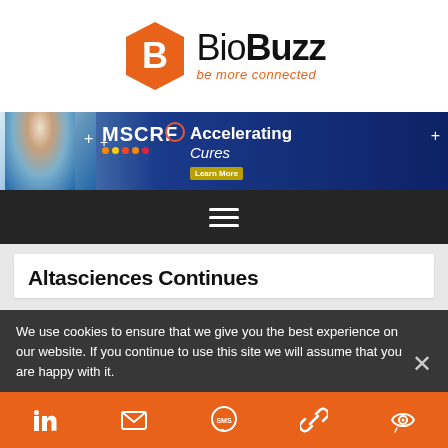[Figure (logo): BioBuzz logo: orange hexagon with B, text 'BioBuzz' and tagline 'be more connected']
[Figure (infographic): MSCRF banner ad: scientist at microscope, 'MSCRF Accelerating Cures Learn More' on blue background]
[Figure (infographic): Dark navigation bar with hamburger menu icon (three horizontal lines)]
Altasciences Continues
We use cookies to ensure that we give you the best experience on our website. If you continue to use this site we will assume that you are happy with it.
[Figure (infographic): Orange social bar with LinkedIn, email, SMS, link/chain, and eye/view icons]